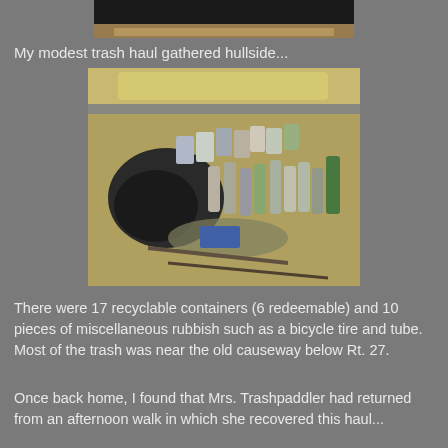[Figure (photo): Partial top photo of a kayak or boat, cropped at top of page]
My modest trash haul gathered hullside...
[Figure (photo): Photo of trash collected including crushed cans, plastic bottles, a bicycle tire and tube, and other miscellaneous rubbish laid out on sandy ground near a kayak hull]
There were 17 recyclable containers (6 redeemable) and 10 pieces of miscellaneous rubbish such as a bicycle tire and tube.  Most of the trash was near the old causeway below Rt. 27.
Once back home, I found that Mrs. Trashpaddler had returned from an afternoon walk in which she recovered this haul...